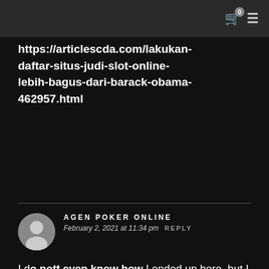0 [cart icon] [menu icon]
https://articlescda.com/lakukan-daftar-situs-judi-slot-online-lebih-bagus-dari-barack-obama-462957.html
AGEN POKER ONLINE
February 2, 2021 at 11:34 pm  REPLY
I do nott even know how I ended up here, but I thought this post was great. I do not know who you are but certainly you are going to a famous blogger if you aren't alreaddy 😉 Cheers! https://www.blaze-bookmarks.win/situs-poker-